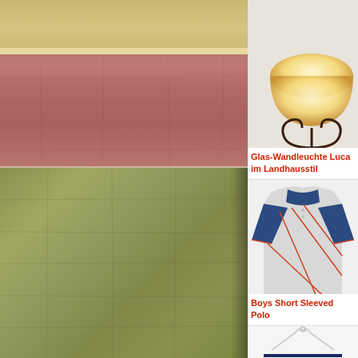[Figure (photo): Brown/mauve leather headboard against an olive/gold wall]
[Figure (photo): Olive green and gold textured leather surface]
[Figure (photo): Wall lamp (Glas-Wandleuchte Luca) with decorative iron scrollwork bracket and frosted glass shade in country house style]
Glas-Wandleuchte Luca im Landhausstil
[Figure (photo): Boys short sleeved polo shirt in grey with blue sleeves and collar, orange accent lines]
Boys Short Sleeved Polo
[Figure (photo): Partial view of a striped garment on a hanger]